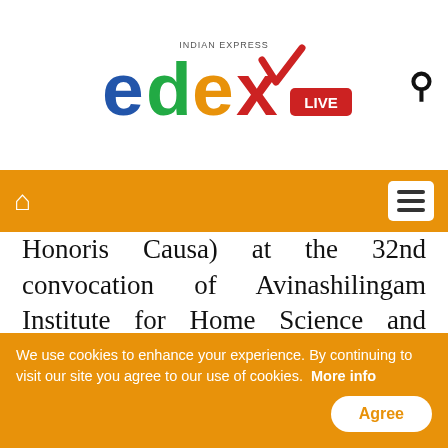[Figure (logo): EdexLive logo - Indian Express branded education news website logo with colorful letters e, d, e, x and LIVE badge]
Navigation bar with home icon and menu icon
Honoris Causa) at the 32nd convocation of Avinashilingam Institute for Home Science and Higher Education for Women in Coimbatore, which will be held virtually on Friday.
The Union Minister will be conferred D'Litt-Honoris Causa degree for his contribution in the field of Literature and Education, the university said in a release. The convocation will be held at 2.30 pm on Friday and the
We use cookies to enhance your experience. By continuing to visit our site you agree to our use of cookies.  More info